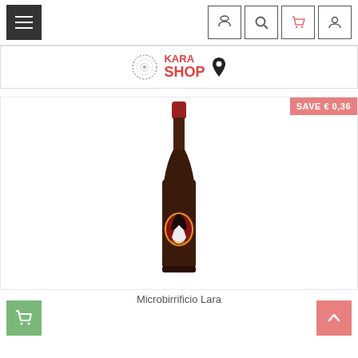[Figure (screenshot): Navigation bar with hamburger menu on left and home, search, cart, user icons on right]
[Figure (logo): Kara Shop logo with decorative circular icon and location pin]
[Figure (photo): Product photo of Moretta beer bottle from Microbirrificio Lara with red cap and label featuring a woman with dark hair]
Microbirrificio Lara